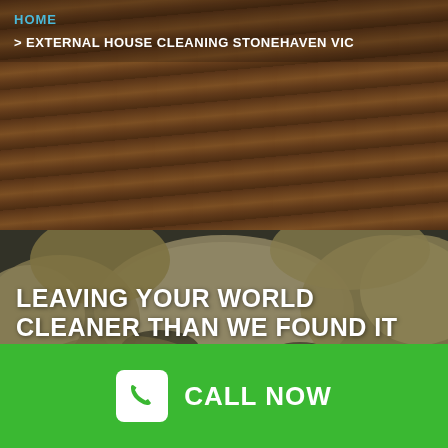HOME
> EXTERNAL HOUSE CLEANING STONEHAVEN VIC
[Figure (photo): Background photo of natural stone rocks in an outdoor setting, used as hero image background]
LEAVING YOUR WORLD CLEANER THAN WE FOUND IT
IF YOU ARE LOOKING FOR THE POPULAR
CALL NOW